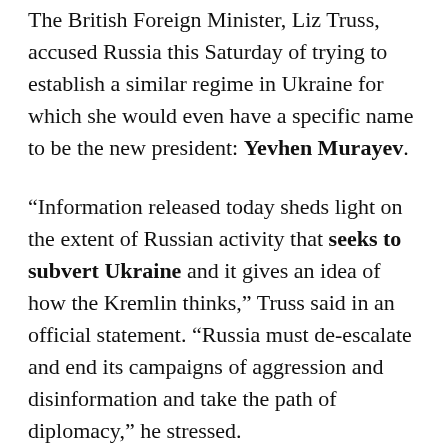The British Foreign Minister, Liz Truss, accused Russia this Saturday of trying to establish a similar regime in Ukraine for which she would even have a specific name to be the new president: Yevhen Murayev.
“Information released today sheds light on the extent of Russian activity that seeks to subvert Ukraine and it gives an idea of how the Kremlin thinks,” Truss said in an official statement. “Russia must de-escalate and end its campaigns of aggression and disinformation and take the path of diplomacy,” he stressed.
The text provides details on Russia’s alleged plan to impose a new government, although it does not specify whether an invasion of